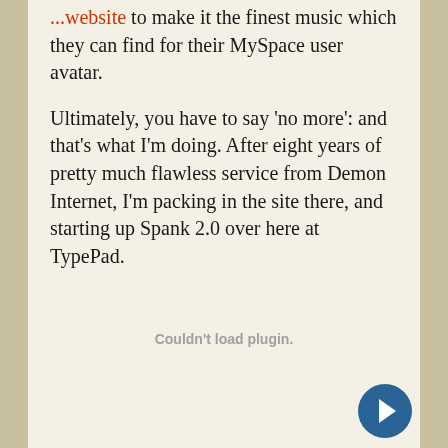...they can find for their MySpace user avatar.
Ultimately, you have to say 'no more': and that's what I'm doing. After eight years of pretty much flawless service from Demon Internet, I'm packing in the site there, and starting up Spank 2.0 over here at TypePad.
[Figure (other): Plugin placeholder area showing 'Couldn't load plugin.' message]